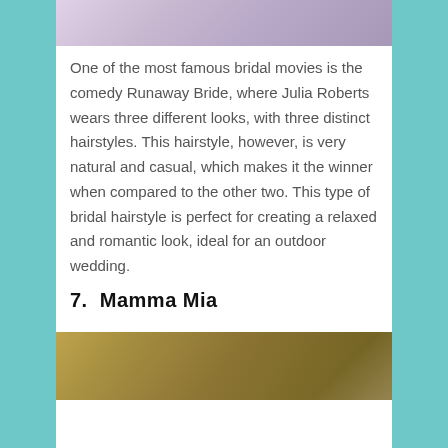[Figure (photo): Top portion of a bridal photo showing a woman in a light pink/lavender dress outdoors on grass]
One of the most famous bridal movies is the comedy Runaway Bride, where Julia Roberts wears three different looks, with three distinct hairstyles. This hairstyle, however, is very natural and casual, which makes it the winner when compared to the other two. This type of bridal hairstyle is perfect for creating a relaxed and romantic look, ideal for an outdoor wedding.
7.  Mamma Mia
[Figure (photo): Bottom portion showing a photo with golden/yellow floral elements, likely a wedding scene from Mamma Mia]